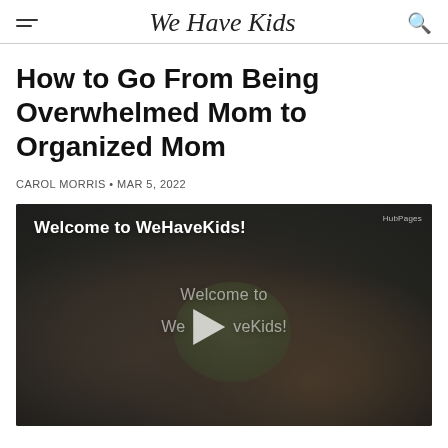We Have Kids
How to Go From Being Overwhelmed Mom to Organized Mom
CAROL MORRIS • MAR 5, 2022
[Figure (screenshot): Video player thumbnail showing a family (adults and children smiling together) with the text 'Welcome to WeHaveKids!' at top left and 'Welcome to WeHaveKids!' overlaid in the center with a play button. A small 'HubPages' watermark appears in the top right corner.]